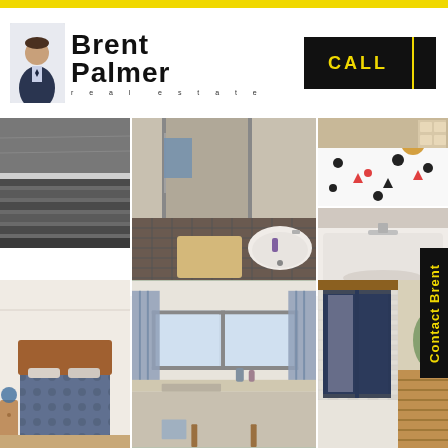[Figure (logo): Brent Palmer Real Estate logo with photo of agent in suit]
[Figure (other): CALL button in black with yellow text and divider]
[Figure (photo): Close-up of roof tiles / exterior detail]
[Figure (photo): Bathroom interior with shower, bath, blue towel and bath mat]
[Figure (photo): Child's bedroom with patterned bedspread and toys]
[Figure (photo): Bathroom sink/vanity area lower view]
[Figure (other): Contact Brent vertical sidebar button]
[Figure (photo): Bedroom with timber bed frame and patterned quilt]
[Figure (photo): Kitchen/laundry area with window and curtains]
[Figure (photo): Exterior brick wall with sliding glass door and timber deck]